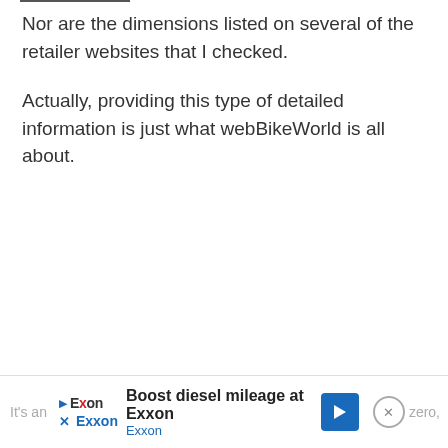Nor are the dimensions listed on several of the retailer websites that I checked.
Actually, providing this type of detailed information is just what webBikeWorld is all about.
It's an ... zero,